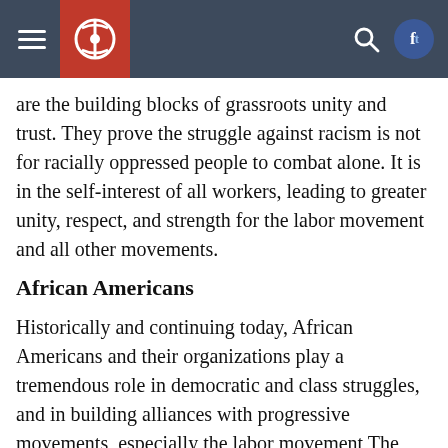[navigation header with logo]
are the building blocks of grassroots unity and trust. They prove the struggle against racism is not for racially oppressed people to combat alone. It is in the self-interest of all workers, leading to greater unity, respect, and strength for the labor movement and all other movements.
African Americans
Historically and continuing today, African Americans and their organizations play a tremendous role in democratic and class struggles, and in building alliances with progressive movements, especially the labor movement The reasons for this key role include:
1) the central role played by slavery in providing capital for U.S. political and economic